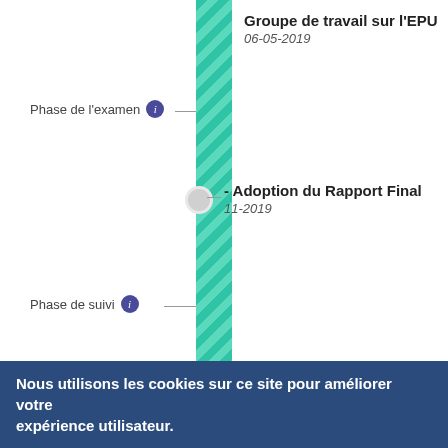[Figure (infographic): Vertical timeline showing UPR process phases: Phase de l'examen with 'Groupe de travail sur l'EPU 06-05-2019', milestone 'Adoption du Rapport Final 11-2019', Phase de suivi, and partial Consultations phase. Timeline bar is teal/green with diagonal stripes transitioning to grey. Left side labels with info circles, right side event labels.]
Nous utilisons les cookies sur ce site pour améliorer votre expérience utilisateur.